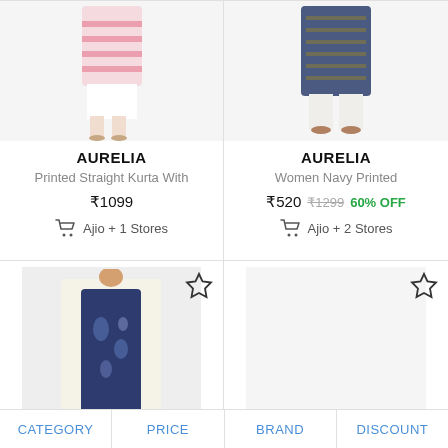[Figure (photo): Pink striped kurti on female model, lower half visible]
AURELIA
Printed Straight Kurta With
₹1099
Ajio + 1 Stores
[Figure (photo): Navy printed kurti on female model, lower half visible]
AURELIA
Women Navy Printed
₹520 ₹1299 60% OFF
Ajio + 2 Stores
[Figure (photo): Female model in cream and navy floral printed kurti with leggings]
[Figure (photo): Empty product card slot]
CATEGORY   PRICE   BRAND   DISCOUNT